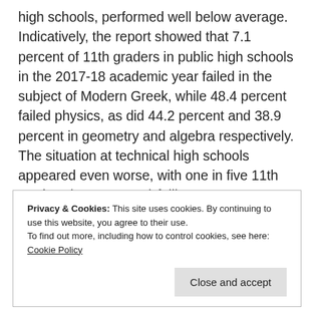high schools, performed well below average. Indicatively, the report showed that 7.1 percent of 11th graders in public high schools in the 2017-18 academic year failed in the subject of Modern Greek, while 48.4 percent failed physics, as did 44.2 percent and 38.9 percent in geometry and algebra respectively. The situation at technical high schools appeared even worse, with one in five 11th graders (20.4 percent) failing to
Privacy & Cookies: This site uses cookies. By continuing to use this website, you agree to their use.
To find out more, including how to control cookies, see here: Cookie Policy